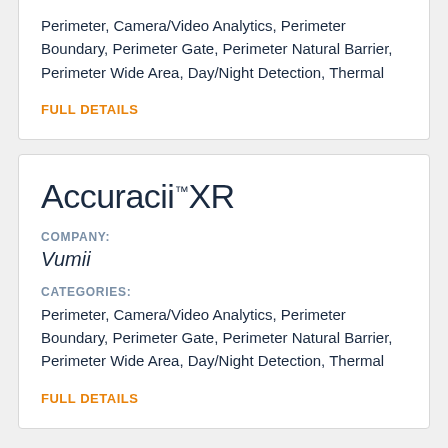Perimeter, Camera/Video Analytics, Perimeter Boundary, Perimeter Gate, Perimeter Natural Barrier, Perimeter Wide Area, Day/Night Detection, Thermal
FULL DETAILS
Accuracii™XR
COMPANY:
Vumii
CATEGORIES:
Perimeter, Camera/Video Analytics, Perimeter Boundary, Perimeter Gate, Perimeter Natural Barrier, Perimeter Wide Area, Day/Night Detection, Thermal
FULL DETAILS